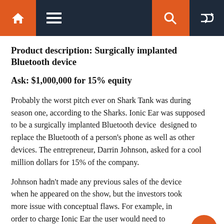Navigation bar with home, menu, search, and shuffle icons
Product description: Surgically implanted Bluetooth device
Ask: $1,000,000 for 15% equity
Probably the worst pitch ever on Shark Tank was during season one, according to the Sharks. Ionic Ear was supposed to be a surgically implanted Bluetooth device  designed to replace the Bluetooth of a person's phone as well as other devices. The entrepreneur, Darrin Johnson, asked for a cool million dollars for 15% of the company.
Johnson hadn't made any previous sales of the device when he appeared on the show, but the investors took more issue with conceptual flaws. For example, in order to charge Ionic Ear the user would need to insert a needle like device into their ear at night.